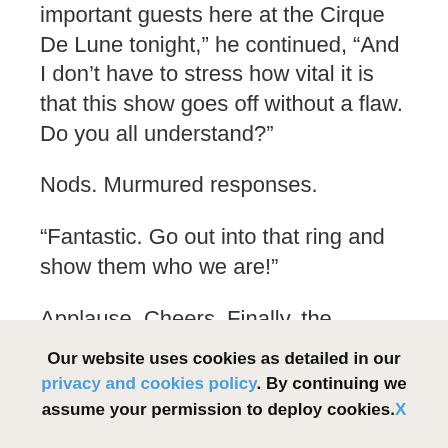important guests here at the Cirque De Lune tonight," he continued, "And I don't have to stress how vital it is that this show goes off without a flaw. Do you all understand?"
Nods. Murmured responses.
“Fantastic. Go out into that ring and show them who we are!”
Applause. Cheers. Finally, the laughter and conversation that the meal had been missing before crept gradually back. But Lord Aspin and Monsieur Mysterioso were
Our website uses cookies as detailed in our privacy and cookies policy. By continuing we assume your permission to deploy cookies. X